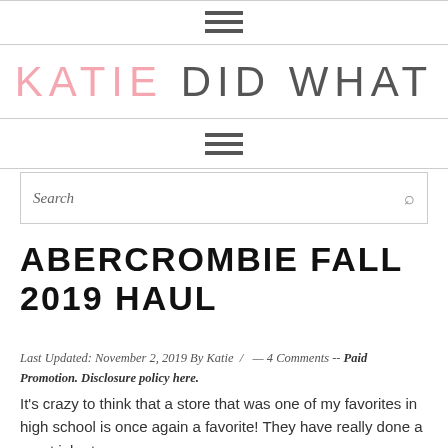KATIE DID WHAT
[Figure (other): Hamburger menu icon (three horizontal lines) at the top of the page]
[Figure (other): Hamburger menu icon (three horizontal lines) below the site title]
ABERCROMBIE FALL 2019 HAUL
Last Updated: November 2, 2019 By Katie / — 4 Comments -- Paid Promotion. Disclosure policy here.
It's crazy to think that a store that was one of my favorites in high school is once again a favorite! They have really done a great job at